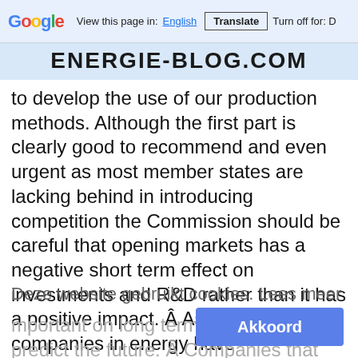Google Translate bar: View this page in: English | Translate | Turn off for: D
ENERGIE-BLOG.COM
to develop the use of our production methods. Although the first part is clearly good to recommend and even urgent as most member states are lacking behind in introducing competition the Commission should be careful that opening markets has a negative short term effect on investments and R&D rather than it has a positive impact. Â As most private companies in energy have shareholders that demand a good return opening markets puts pressure on the profitability and even more important on long term investments and predict the future. Â Companies that can not predict a clear vision and strategy for their development will be punished on the stock exchange and by the financial sector as a whole.
Deze website gebruikt cookies. Lees meer
Akkoord